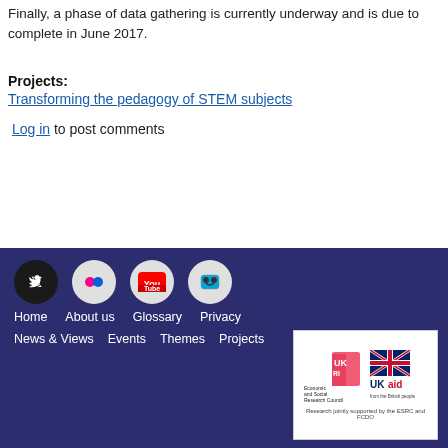Finally, a phase of data gathering is currently underway and is due to complete in June 2017.
Projects:
Transforming the pedagogy of STEM subjects
Log in to post comments
[Figure (screenshot): Website footer with dark navy background containing social media icons (Twitter, Flickr, YouTube, Slideshare), navigation links (Home, About us, Glossary, Privacy, News & Views, Events, Themes, Projects), and logos for ESRC (Economic and Social Research Council) and UK Aid with text 'Research jointly supported by the ESRC and FCDO'.]